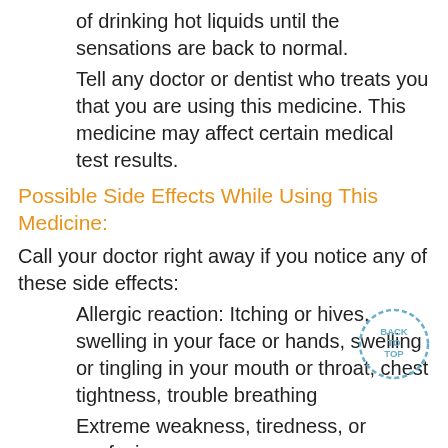of drinking hot liquids until the sensations are back to normal.
Tell any doctor or dentist who treats you that you are using this medicine. This medicine may affect certain medical test results.
Possible Side Effects While Using This Medicine:
Call your doctor right away if you notice any of these side effects:
Allergic reaction: Itching or hives, swelling in your face or hands, swelling or tingling in your mouth or throat, chest tightness, trouble breathing
Extreme weakness, tiredness, or confusion.
High fever, sweating, feeling faint, uneven heartbeat, or muscle stiffness.
Numbness of your lips or mouth for a very long time.
Rapid breathing, nausea, or vomiting.
Seizure or tremors.
Slow or fast heartbeat.